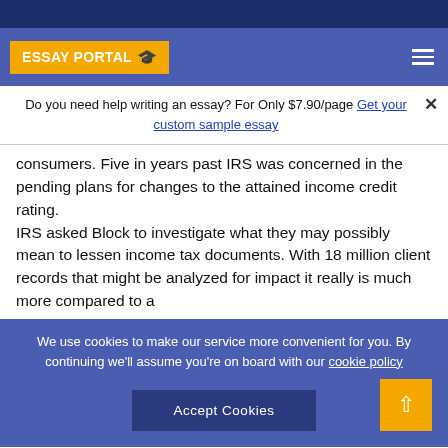ESSAY PORTAL
Do you need help writing an essay? For Only $7.90/page Get your custom sample essay
consumers. Five in years past IRS was concerned in the pending plans for changes to the attained income credit rating.
IRS asked Block to investigate what they may possibly mean to lessen income tax documents. With 18 million client records that might be analyzed for impact it really is much more compared to a
We use cookies to make our service more convenient for you. By continuing we'll assume you're on board with our cookie policy